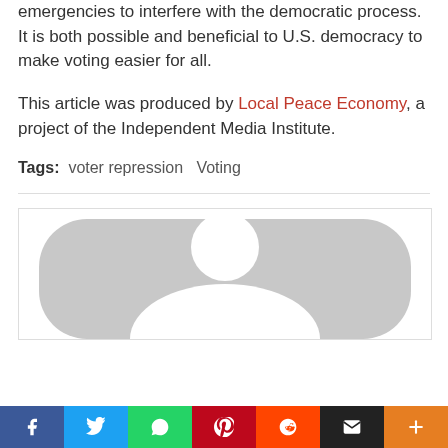emergencies to interfere with the democratic process. It is both possible and beneficial to U.S. democracy to make voting easier for all.
This article was produced by Local Peace Economy, a project of the Independent Media Institute.
Tags:  voter repression  Voting
[Figure (illustration): Partial view of a grey rounded avatar/person icon on white background with border]
[Figure (infographic): Social media share bar with Facebook, Twitter, WhatsApp, Pinterest, Reddit, Email, and Plus buttons]